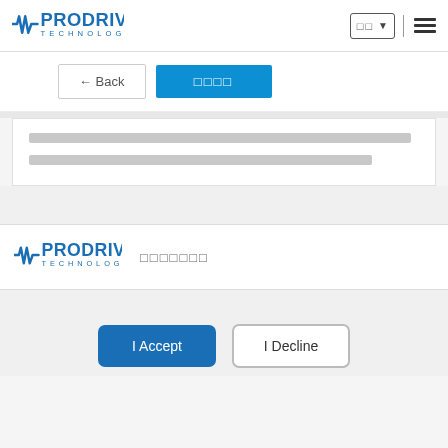[Figure (logo): Prodrive Technologies logo in blue with waveform icon, top left header]
[Figure (screenshot): Language selector dropdown box with two square characters and dropdown arrow, plus hamburger menu icon on right]
← Back
□□□□ (redacted blue button)
[Redacted content lines in gray]
[Figure (logo): Prodrive Technologies logo in blue, footer section]
□□□□□□□ (redacted footer text)
I Accept
I Decline